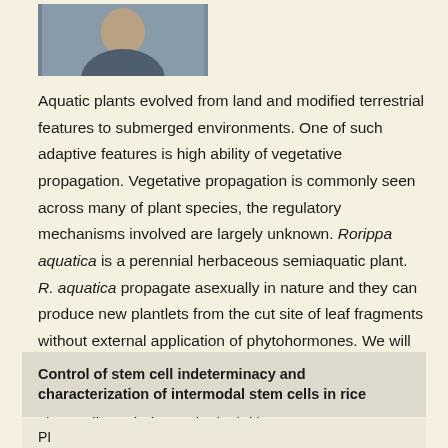[Figure (photo): Headshot photo of a researcher/person]
Aquatic plants evolved from land and modified terrestrial features to submerged environments. One of such adaptive features is high ability of vegetative propagation. Vegetative propagation is commonly seen across many of plant species, the regulatory mechanisms involved are largely unknown. Rorippa aquatica is a perennial herbaceous semiaquatic plant. R. aquatica propagate asexually in nature and they can produce new plantlets from the cut site of leaf fragments without external application of phytohormones. We will investigate the mechanism of vegetative propagation in R. aquatica to understand the principles of pluripotent stem cells underlying plant vitality.
Control of stem cell indeterminacy and characterization of intermodal stem cells in rice
PI